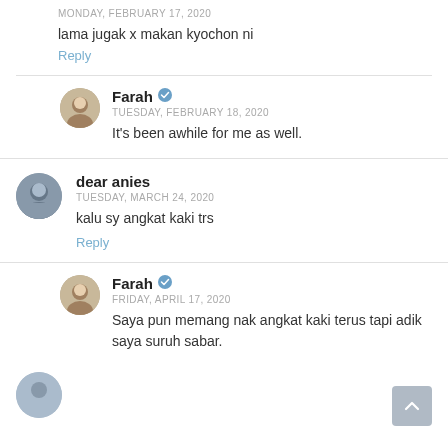MONDAY, FEBRUARY 17, 2020
lama jugak x makan kyochon ni
Reply
Farah
TUESDAY, FEBRUARY 18, 2020
It's been awhile for me as well.
dear anies
TUESDAY, MARCH 24, 2020
kalu sy angkat kaki trs
Reply
Farah
FRIDAY, APRIL 17, 2020
Saya pun memang nak angkat kaki terus tapi adik saya suruh sabar.